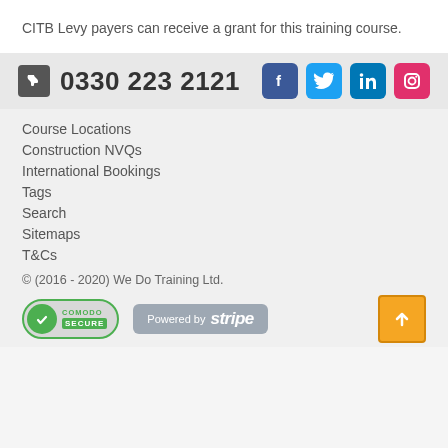CITB Levy payers can receive a grant for this training course.
0330 223 2121
Course Locations
Construction NVQs
International Bookings
Tags
Search
Sitemaps
T&Cs
© (2016 - 2020) We Do Training Ltd.
[Figure (logo): Comodo Secure badge and Powered by Stripe badge]
[Figure (other): Back to top orange button with upward arrow]